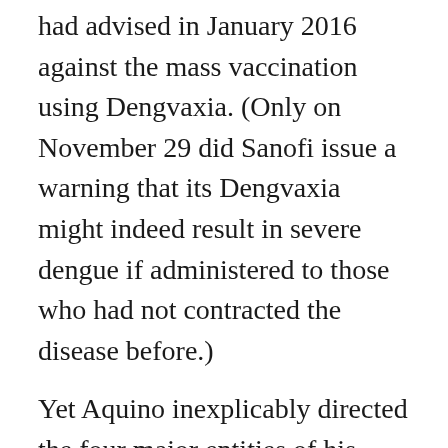had advised in January 2016 against the mass vaccination using Dengvaxia. (Only on November 29 did Sanofi issue a warning that its Dengvaxia might indeed result in severe dengue if administered to those who had not contracted the disease before.)
Yet Aquino inexplicably directed the four major entities of his administration—the health, budget, education, and the interior and local governments—to order the Dengvaxia, fund the purchase from sources unauthorized by Congress, and vaccinate in three regions such a huge number of fourth graders in the closing months of his regime.
The mass vaccination program was so rushed that requirements set by the World Health Organization